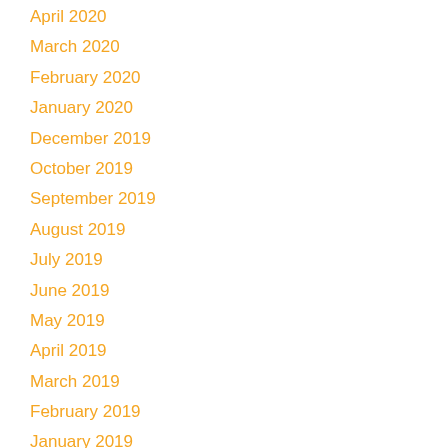April 2020
March 2020
February 2020
January 2020
December 2019
October 2019
September 2019
August 2019
July 2019
June 2019
May 2019
April 2019
March 2019
February 2019
January 2019
November 2018
October 2018
September 2018